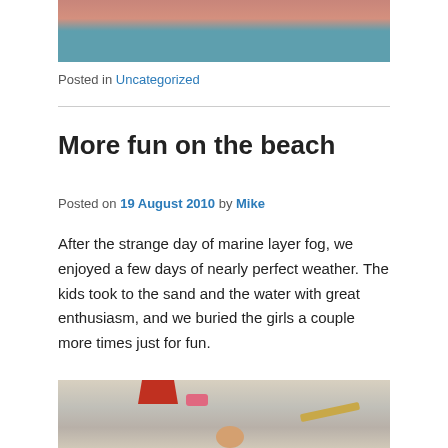[Figure (photo): Top portion of a photo showing two people, one in a red top and one in a blue shirt, cropped at the top of the page]
Posted in Uncategorized
More fun on the beach
Posted on 19 August 2010 by Mike
After the strange day of marine layer fog, we enjoyed a few days of nearly perfect weather. The kids took to the sand and the water with great enthusiasm, and we buried the girls a couple more times just for fun.
[Figure (photo): Beach photo showing sand, a red beach chair, pink item on sand, a wooden stick/board, and a child's head partially visible at the bottom, cropped at bottom of page]